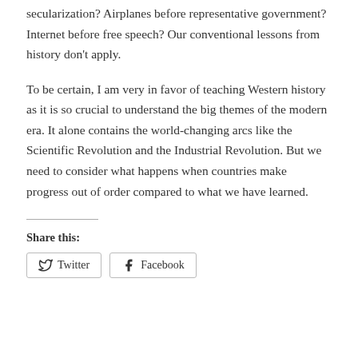secularization? Airplanes before representative government? Internet before free speech? Our conventional lessons from history don't apply.
To be certain, I am very in favor of teaching Western history as it is so crucial to understand the big themes of the modern era. It alone contains the world-changing arcs like the Scientific Revolution and the Industrial Revolution. But we need to consider what happens when countries make progress out of order compared to what we have learned.
Share this: